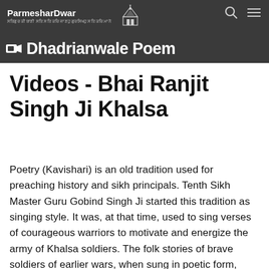ParmesharDwar — Dhadrianwale Poem
Videos - Bhai Ranjit Singh Ji Khalsa
Poetry (Kavishari) is an old tradition used for preaching history and sikh principals. Tenth Sikh Master Guru Gobind Singh Ji started this tradition as singing style. It was, at that time, used to sing verses of courageous warriors to motivate and energize the army of Khalsa soldiers. The folk stories of brave soldiers of earlier wars, when sung in poetic form, filled the listeners with courage. Such poems were known as kavishari of BIR RAS. Bhai Ranjit Singh Dhadrianwale has taken a whole new viewpoint and started singing poems in his